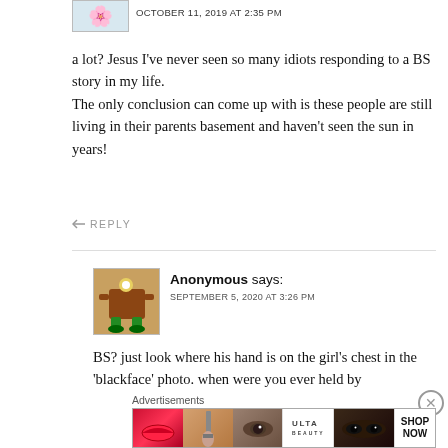OCTOBER 11, 2019 AT 2:35 PM
a lot? Jesus I've never seen so many idiots responding to a BS story in my life.
The only conclusion can come up with is these people are still living in their parents basement and haven't seen the sun in years!
REPLY
Anonymous says:
SEPTEMBER 5, 2020 AT 3:26 PM
BS? just look where his hand is on the girl's chest in the 'blackface' photo. when were you ever held by
Advertisements